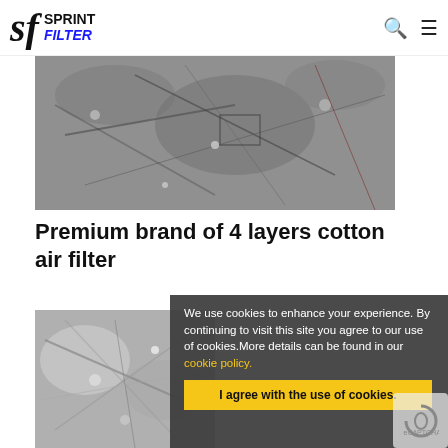sf SPRINT FILTER
[Figure (photo): Close-up microscopic photograph of cotton air filter material, showing fiber texture in grayscale]
Premium brand of 4 layers cotton air filter
[Figure (photo): Close-up microscopic photograph of cotton filter material, grayscale, showing fiber details]
We use cookies to enhance your experience. By continuing to visit this site you agree to our use of cookies.More details can be found in our cookie policy.
I agree with the use of cookies.